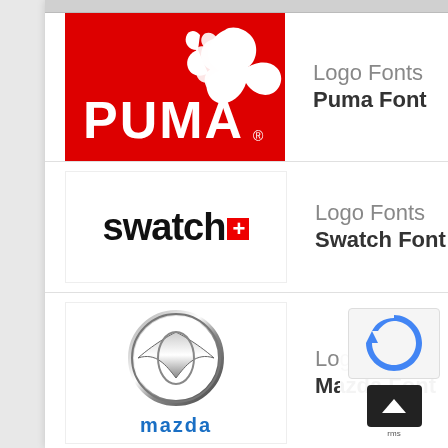[Figure (logo): Puma brand logo - red background with white PUMA text and leaping cat silhouette]
Logo Fonts
Puma Font
[Figure (logo): Swatch brand logo - black bold 'swatch' text with red plus symbol]
Logo Fonts
Swatch Font
[Figure (logo): Mazda brand logo - chrome circular M emblem above blue MAZDA text]
Logo Fonts
Mazda Font
[Figure (logo): Jaguar brand logo - leaping jaguar silhouette above JAGUAR wordmark]
Logo Fonts
Jaguar Font
[Figure (logo): Porsche brand logo - shield crest with horse emblem]
Logo Fonts
Porsche Font